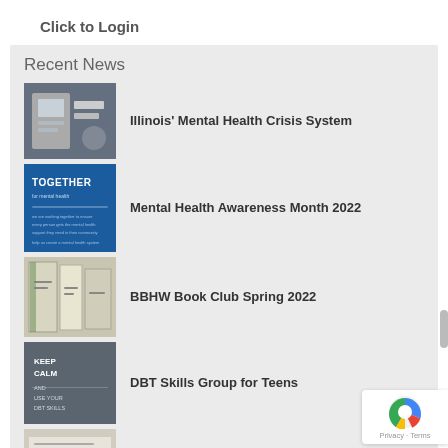Click to Login
Recent News
Illinois' Mental Health Crisis System
Mental Health Awareness Month 2022
BBHW Book Club Spring 2022
DBT Skills Group for Teens
No Surprises Act 2022